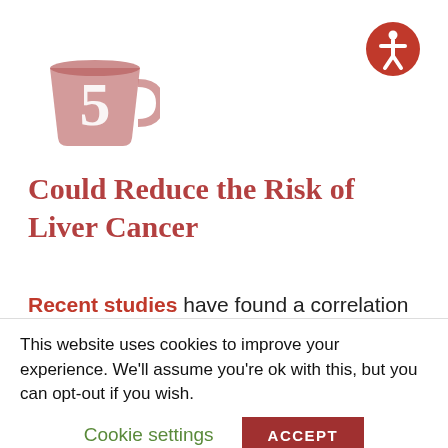[Figure (illustration): A pink/rose-colored coffee cup mug with the number 5 displayed on it, serving as a numbered icon for list item 5.]
[Figure (illustration): Circular accessibility icon with a person symbol in white on a red/coral background.]
Could Reduce the Risk of Liver Cancer
Recent studies have found a correlation between drinking coffee and a reduced risk of developing liver cancer compared to non-
This website uses cookies to improve your experience. We'll assume you're ok with this, but you can opt-out if you wish.
Cookie settings   ACCEPT